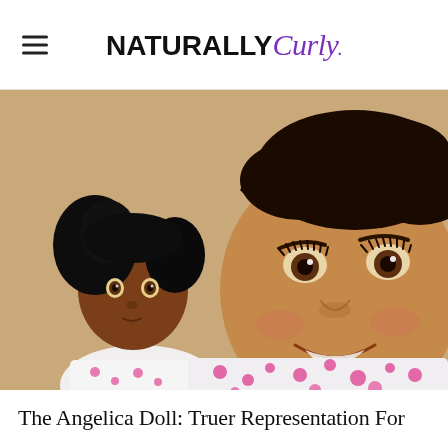NATURALLY Curly
[Figure (photo): A young Black girl with natural hair pulled up, smiling and holding a Black doll with curly natural hair. Both the girl and doll are wearing white clothing with pink polka dots. The background is a warm beige/tan color.]
The Angelica Doll: Truer Representation For